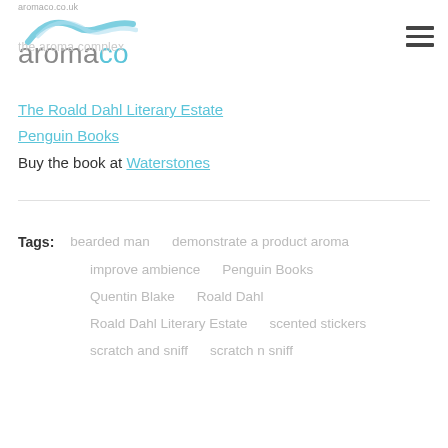aromaco.co.uk
[Figure (logo): AromaCo logo with blue wave above and text 'aromaco' in grey]
The Roald Dahl Literary Estate
Penguin Books
Buy the book at Waterstones
Tags:  bearded man    demonstrate a product aroma    improve ambience    Penguin Books    Quentin Blake    Roald Dahl    Roald Dahl Literary Estate    scented stickers    scratch and sniff    scratch n sniff